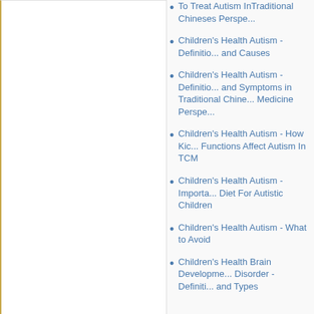Children's Health Autism - How To Treat Autism InTraditional Chineses Perspective
Children's Health Autism - Definition and Causes
Children's Health Autism - Definition and Symptoms in Traditional Chinese Medicine Perspective
Children's Health Autism - How Kidney Functions Affect Autism In TCM
Children's Health Autism - Important Diet For Autistic Children
Children's Health Autism - What to Avoid
Children's Health Brain Development Disorder - Definition and Types